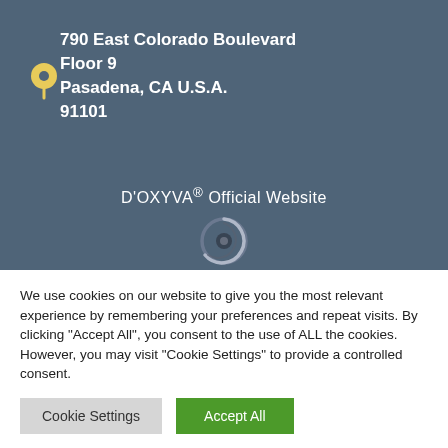790 East Colorado Boulevard
Floor 9
Pasadena, CA U.S.A.
91101
D'OXYVA® Official Website
[Figure (illustration): Circular spinner/loading icon in grey tones]
We use cookies on our website to give you the most relevant experience by remembering your preferences and repeat visits. By clicking "Accept All", you consent to the use of ALL the cookies. However, you may visit "Cookie Settings" to provide a controlled consent.
Cookie Settings
Accept All